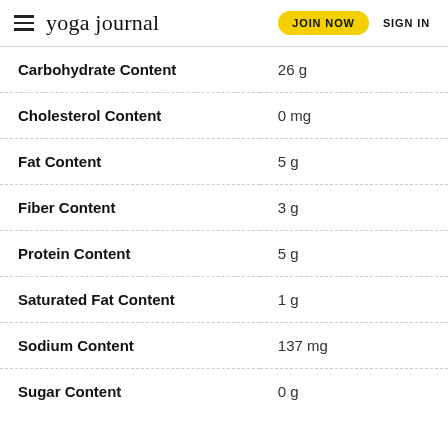yoga journal | JOIN NOW | SIGN IN
| Nutrient | Amount |
| --- | --- |
| Carbohydrate Content | 26 g |
| Cholesterol Content | 0 mg |
| Fat Content | 5 g |
| Fiber Content | 3 g |
| Protein Content | 5 g |
| Saturated Fat Content | 1 g |
| Sodium Content | 137 mg |
| Sugar Content | 0 g |